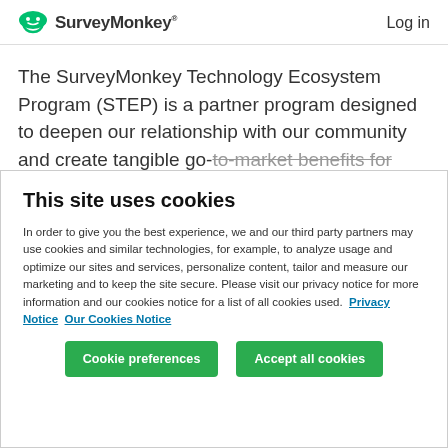SurveyMonkey   Log in
The SurveyMonkey Technology Ecosystem Program (STEP) is a partner program designed to deepen our relationship with our community and create tangible go-to-market benefits for everyone involved. With STEP, we
This site uses cookies
In order to give you the best experience, we and our third party partners may use cookies and similar technologies, for example, to analyze usage and optimize our sites and services, personalize content, tailor and measure our marketing and to keep the site secure. Please visit our privacy notice for more information and our cookies notice for a list of all cookies used.  Privacy Notice  Our Cookies Notice
Cookie preferences   Accept all cookies